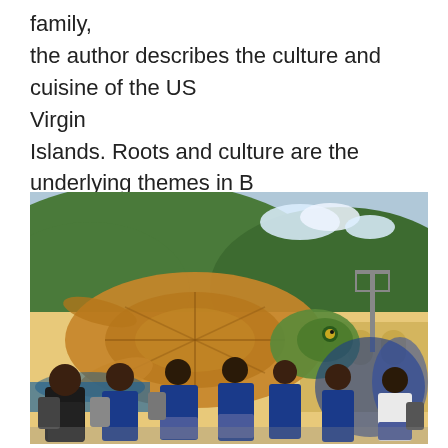family, the author describes the culture and cuisine of the US Virgin Islands. Roots and culture are the underlying themes in B is for Benye: A Virgin Islands Historical and Cultural A-Z Book
[Figure (photo): Schoolchildren in blue uniforms with backpacks gathered in a schoolyard, with a large sea turtle mural painted on a building wall behind them. Green hills and clouds visible in the background.]